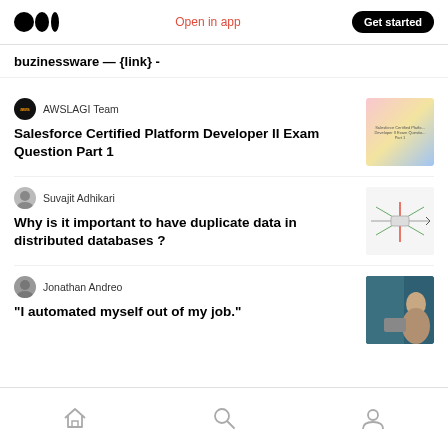Medium logo | Open in app | Get started
buzinessware — {link} -
AWSLAGI Team
Salesforce Certified Platform Developer II Exam Question Part 1
Suvajit Adhikari
Why is it important to have duplicate data in distributed databases ?
Jonathan Andreo
“I automated myself out of my job.”
Home | Search | Profile